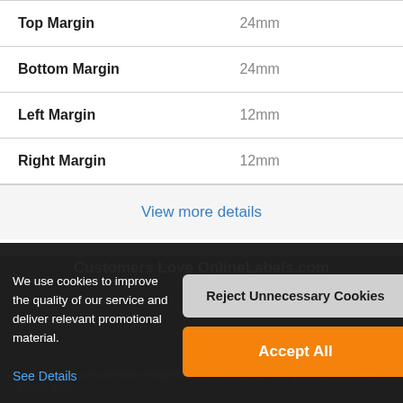| Property | Value |
| --- | --- |
| Top Margin | 24mm |
| Bottom Margin | 24mm |
| Left Margin | 12mm |
| Right Margin | 12mm |
View more details
Customers Love OnlineLabels.com
We use cookies to improve the quality of our service and deliver relevant promotional material. See Details
Reject Unnecessary Cookies
Accept All
...had an issue with these labels over the years. The glue is high quality which sticks and...